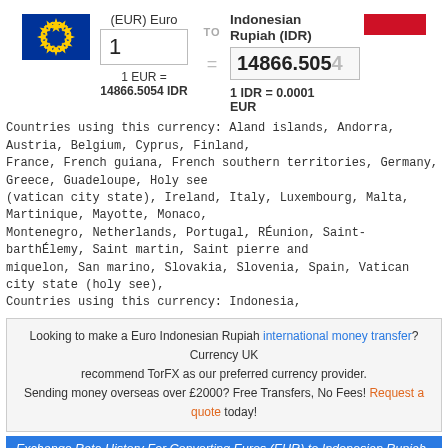(EUR) Euro TO Indonesian Rupiah (IDR) | 1 EUR = 14866.5054 IDR | 1 IDR = 0.0001 EUR
Countries using this currency: Aland islands, Andorra, Austria, Belgium, Cyprus, Finland, France, French guiana, French southern territories, Germany, Greece, Guadeloupe, Holy see (vatican city state), Ireland, Italy, Luxembourg, Malta, Martinique, Mayotte, Monaco, Montenegro, Netherlands, Portugal, RÉunion, Saint-barthÉlemy, Saint martin, Saint pierre and miquelon, San marino, Slovakia, Slovenia, Spain, Vatican city state (holy see),
Countries using this currency: Indonesia,
Looking to make a Euro Indonesian Rupiah international money transfer? Currency UK recommend TorFX as our preferred currency provider.
Sending money overseas over £2000? Free Transfers, No Fees! Request a quote today!
Exchange Rate History For Converting Euros (EUR) to Indonesian Rupiah (IDR)
The last 14 days currency values...
| Day | Date | Rate | Day | Date | Rate |
| --- | --- | --- | --- | --- | --- |
| Mon 29/08/22 | 29th August 2022 | 1 EUR = 14886.1959 IDR | Mon 22/08/22 | 22nd August 2022 | 1 EUR = 14826.4034 IDR |
| Sun 28/08/22 | 28th August 2022 | 1 EUR = 14770.324 IDR | Sun 21/08/22 | 21st August 2022 | 1 EUR = 14933.2127 IDR |